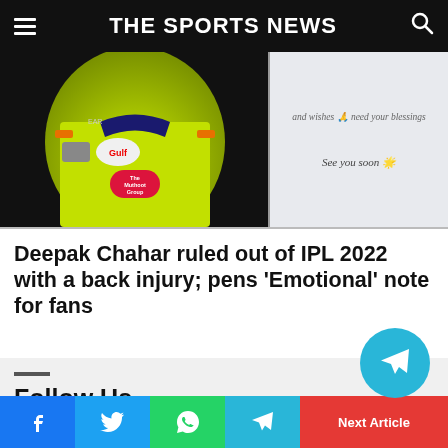THE SPORTS NEWS
[Figure (photo): Left: Cricketer wearing yellow CSK jersey with Gulf and Muthoot Group logos. Right: Screenshot of a message ending with 'and wishes need your blessings' and 'See you soon 🌟']
Deepak Chahar ruled out of IPL 2022 with a back injury; pens 'Emotional' note for fans
Follow Us
Next Article